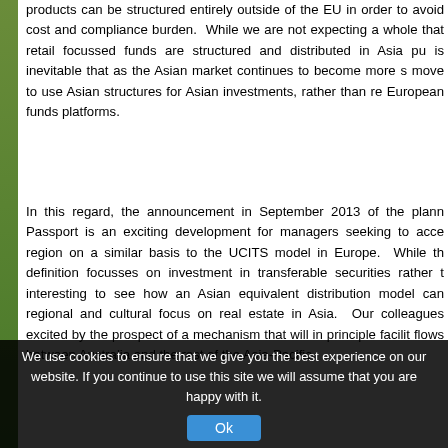products can be structured entirely outside of the EU in order to avoid cost and compliance burden.  While we are not expecting a wholesale that retail focussed funds are structured and distributed in Asia pu is inevitable that as the Asian market continues to become more s move to use Asian structures for Asian investments, rather than re European funds platforms.
In this regard, the announcement in September 2013 of the plann Passport is an exciting development for managers seeking to acce region on a similar basis to the UCITS model in Europe.  While th definition focusses on investment in transferable securities rather t interesting to see how an Asian equivalent distribution model can regional and cultural focus on real estate in Asia.  Our colleagues excited by the prospect of a mechanism that will in principle facilit flows between Australia and the rest of the Asia-Pacific.
Active Markets
While our practice covers the Asia-Pacific region as a whole, it is of our clients have been focussed on opportunities in the region's and, in particular, China, Australia, Japan, India, Singapore and In order).  Office, prime retail, logistics and hospitality properties hav clients' transactions this year and we continue to get enquiries fro
We use cookies to ensure that we give you the best experience on our website. If you continue to use this site we will assume that you are happy with it.